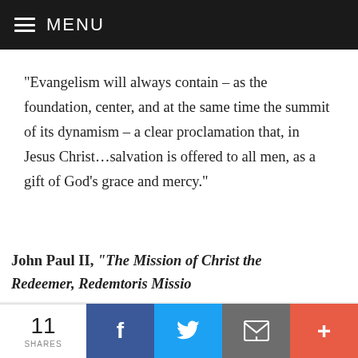MENU
"Evangelism will always contain – as the foundation, center, and at the same time the summit of its dynamism – a clear proclamation that, in Jesus Christ…salvation is offered to all men, as a gift of God's grace and mercy."
John Paul II, "The Mission of Christ the Redeemer, Redemtoris Missio
"The moment has come to commit all of the Church's
11 SHARES